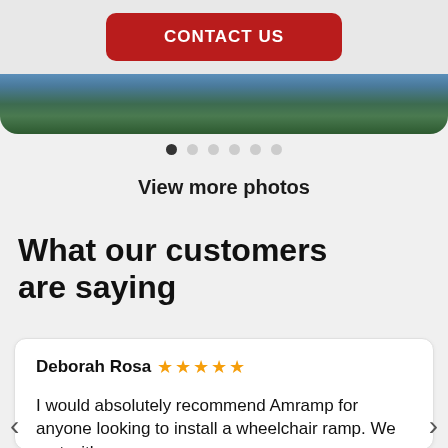CONTACT US
[Figure (photo): Partial view of grass and gravel surface, bottom edge of a photo carousel]
[Figure (other): Carousel dot indicators: 6 dots, first one active (dark), rest grey]
View more photos
What our customers are saying
Deborah Rosa ★★★★★
I would absolutely recommend Amramp for anyone looking to install a wheelchair ramp. We met with a